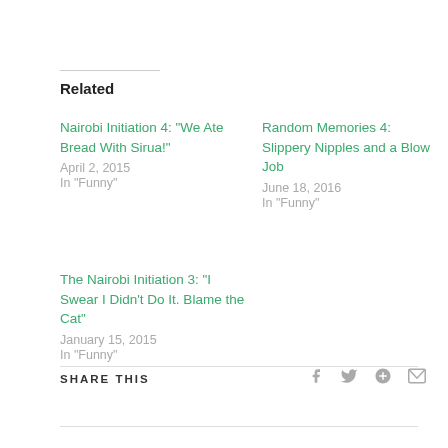Related
Nairobi Initiation 4: "We Ate Bread With Sirua!"
April 2, 2015
In "Funny"
Random Memories 4: Slippery Nipples and a Blow Job
June 18, 2016
In "Funny"
The Nairobi Initiation 3: "I Swear I Didn't Do It. Blame the Cat"
January 15, 2015
In "Funny"
SHARE THIS
[Figure (other): Social share icons: Facebook, Twitter, Google+, Email]